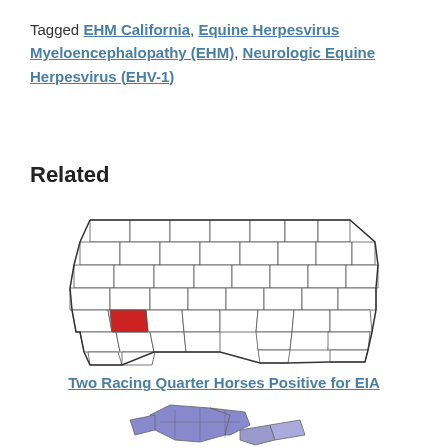Tagged EHM California, Equine Herpesvirus Myeloencephalopathy (EHM), Neurologic Equine Herpesvirus (EHV-1)
Related
[Figure (map): Map of South Carolina with one county highlighted in red, indicating location of disease report.]
Two Racing Quarter Horses Positive for EIA
[Figure (map): Partial map showing a state or region with counties highlighted in purple/blue, partially visible at bottom of page.]